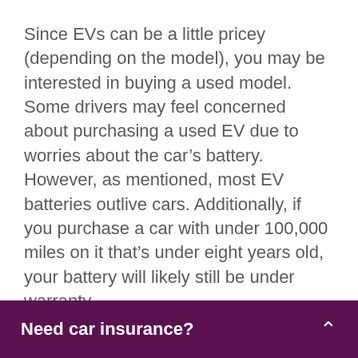Since EVs can be a little pricey (depending on the model), you may be interested in buying a used model. Some drivers may feel concerned about purchasing a used EV due to worries about the car’s battery. However, as mentioned, most EV batteries outlive cars. Additionally, if you purchase a car with under 100,000 miles on it that’s under eight years old, your battery will likely still be under warranty.
With that problem out of the way, the only question is how to find an EV to
Need car insurance?